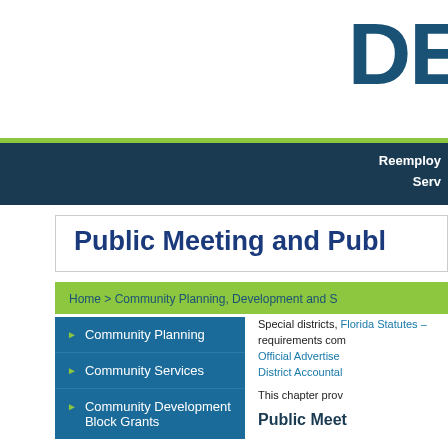DE
Reemployment
Services
Public Meeting and Public
Home > Community Planning, Development and S
Community Planning
Community Services
Community Development Block Grants
Special districts, Florida Statutes - requirements com Official Advertise District Accountal
This chapter prov
Public Meet